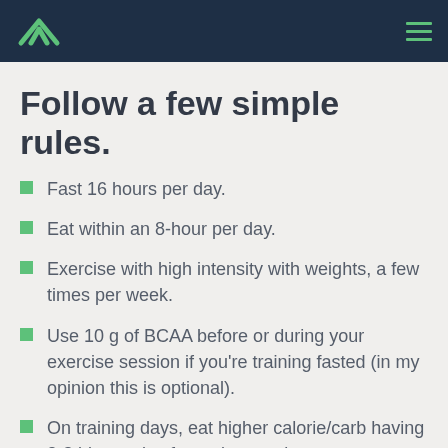Follow a few simple rules.
Fast 16 hours per day.
Eat within an 8-hour per day.
Exercise with high intensity with weights, a few times per week.
Use 10 g of BCAA before or during your exercise session if you're training fasted (in my opinion this is optional).
On training days, eat higher calorie/carb having 2-3 big meals of protein, veggies,